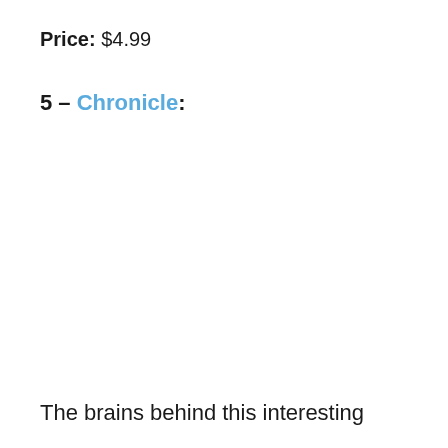Price: $4.99
5 – Chronicle:
The brains behind this interesting